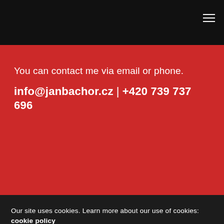You can contact me via email or phone.
info@janbachor.cz | +420 739 737 696
Our site uses cookies. Learn more about our use of cookies: cookie policy
ACCEPT